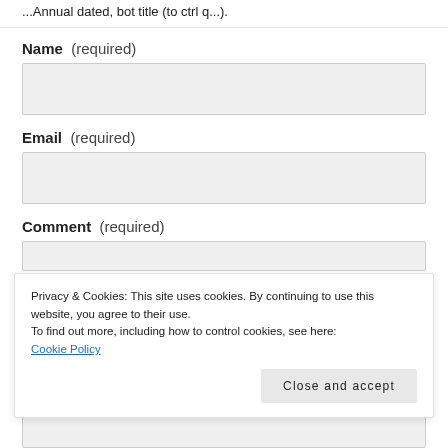... Annual dated, bot title (to ctrl q...).
Name  (required)
[Figure (other): Name input text field (empty, light gray background)]
Email  (required)
[Figure (other): Email input text field (empty, light gray background)]
Comment  (required)
[Figure (other): Comment textarea (empty, light gray background, partially visible)]
Privacy & Cookies: This site uses cookies. By continuing to use this website, you agree to their use.
To find out more, including how to control cookies, see here: Cookie Policy
Close and accept